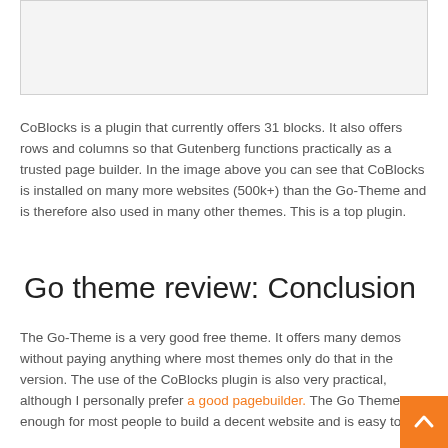[Figure (screenshot): A light gray image placeholder box with a thin border]
CoBlocks is a plugin that currently offers 31 blocks. It also offers rows and columns so that Gutenberg functions practically as a trusted page builder. In the image above you can see that CoBlocks is installed on many more websites (500k+) than the Go-Theme and is therefore also used in many other themes. This is a top plugin.
Go theme review: Conclusion
The Go-Theme is a very good free theme. It offers many demos without paying anything where most themes only do that in the version. The use of the CoBlocks plugin is also very practical, although I personally prefer a good pagebuilder. The Go Theme is enough for most people to build a decent website and is easy to